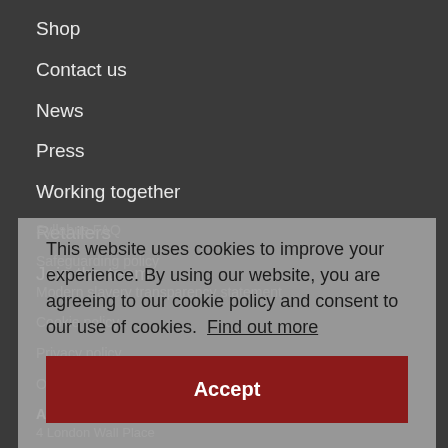Shop
Contact us
News
Press
Working together
Retailers
Join the team
Syllabus FAQ
Safeguarding policy
Modern slavery transparency statement
Cookie policy
Privacy policy
Other policies
This website uses cookies to improve your experience. By using our website, you are agreeing to our cookie policy and consent to our use of cookies. Find out more
Accept
ABRSM
4 London Wall Place